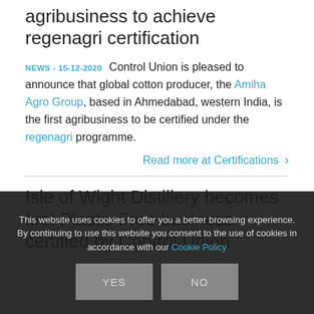agribusiness to achieve regenagri certification
NEWS - 15-12-2020  Control Union is pleased to announce that global cotton producer, the Amiha Agro Group, based in Ahmedabad, western India, is the first agribusiness to be certified under the regenagri programme.
Read more at Certifications ›
Isle of Wight Distillery becomes first Plastic Free business certified by Control Union
This website uses cookies to offer you a better browsing experience. By continuing to use this website you consent to the use of cookies in accordance with our Cookie Policy
YES  NO